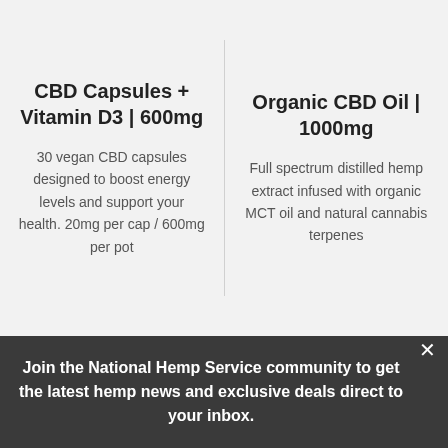CBD Capsules + Vitamin D3 | 600mg
30 vegan CBD capsules designed to boost energy levels and support your health. 20mg per cap / 600mg per pot
Organic CBD Oil | 1000mg
Full spectrum distilled hemp extract infused with organic MCT oil and natural cannabis terpenes
Join the National Hemp Service community to get the latest hemp news and exclusive deals direct to your inbox.